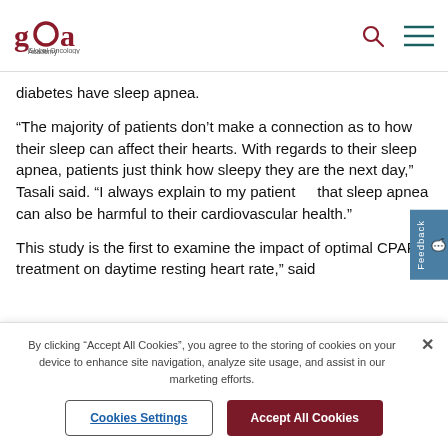GOA Global Oncology Academy
diabetes have sleep apnea.
“The majority of patients don’t make a connection as to how their sleep can affect their hearts. With regards to their sleep apnea, patients just think how sleepy they are the next day,” Tasali said. “I always explain to my patients that sleep apnea can also be harmful to their cardiovascular health.”
This study is the first to examine the impact of optimal CPAP treatment on daytime resting heart rate,” said
By clicking “Accept All Cookies”, you agree to the storing of cookies on your device to enhance site navigation, analyze site usage, and assist in our marketing efforts.